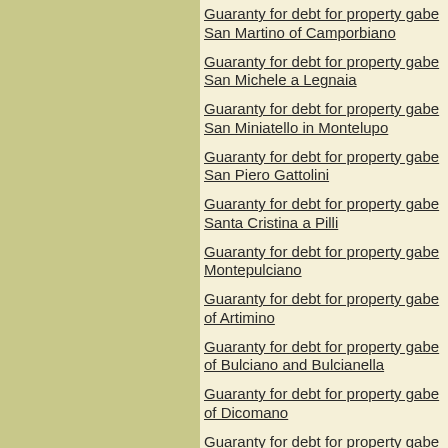Guaranty for debt for property gabe San Martino of Camporbiano
Guaranty for debt for property gabe San Michele a Legnaia
Guaranty for debt for property gabe San Miniatello in Montelupo
Guaranty for debt for property gabe San Piero Gattolini
Guaranty for debt for property gabe Santa Cristina a Pilli
Guaranty for debt for property gabe Montepulciano
Guaranty for debt for property gabe of Artimino
Guaranty for debt for property gabe of Bulciano and Bulcianella
Guaranty for debt for property gabe of Dicomano
Guaranty for debt for property gabe of Montefatucchio
Guaranty for debt for property gabe Santa Maria del Pellegrinaggio
Guaranty for debt for property gabe